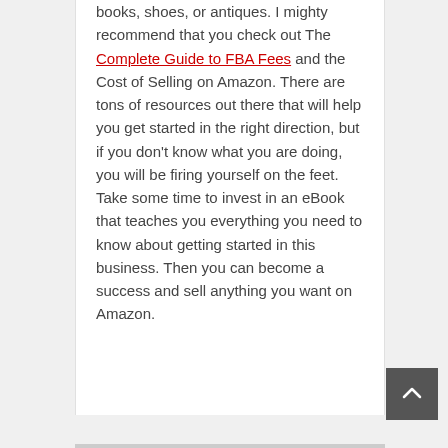books, shoes, or antiques. I mighty recommend that you check out The Complete Guide to FBA Fees and the Cost of Selling on Amazon. There are tons of resources out there that will help you get started in the right direction, but if you don't know what you are doing, you will be firing yourself on the feet. Take some time to invest in an eBook that teaches you everything you need to know about getting started in this business. Then you can become a success and sell anything you want on Amazon.